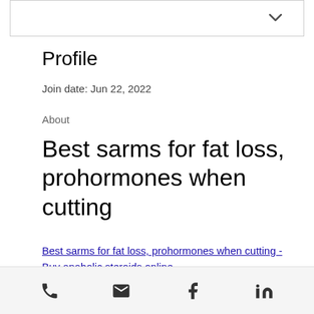Profile
Join date: Jun 22, 2022
About
Best sarms for fat loss, prohormones when cutting
Best sarms for fat loss, prohormones when cutting - Buy anabolic steroids online
Phone, Email, Facebook, LinkedIn icons